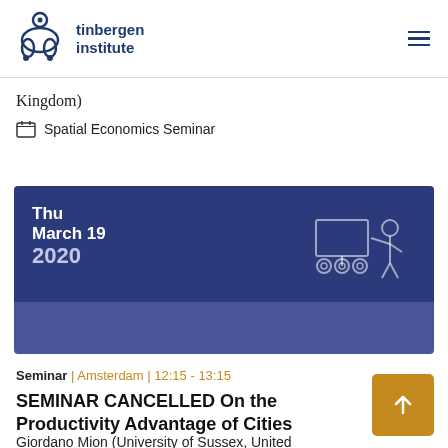tinbergen institute
Kingdom)
Spatial Economics Seminar
[Figure (infographic): Dark blue event card with date Thu March 19 2020 and a line-art illustration of a person presenting at a board on wheels]
Seminar | Amsterdam | 12:15 - 13:15
SEMINAR CANCELLED On the Productivity Advantage of Cities
Giordano Mion (University of Sussex, United